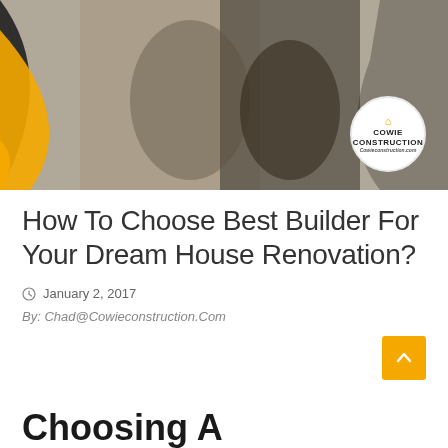[Figure (photo): Hero image showing people (man and woman) standing together, with yellow and dark curved swoosh design elements overlaid. Cowie Construction logo in white circle at bottom right.]
How To Choose Best Builder For Your Dream House Renovation?
January 2, 2017
By: Chad@Cowieconstruction.Com
Choosing A